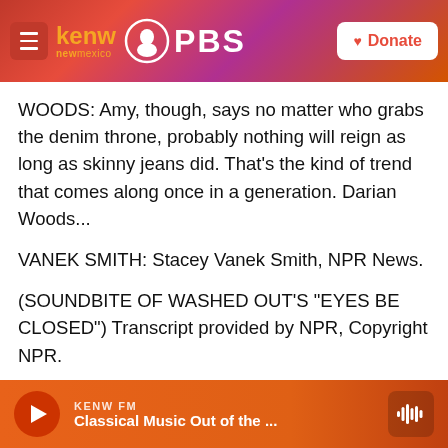KENW new mexico PBS | Donate
WOODS: Amy, though, says no matter who grabs the denim throne, probably nothing will reign as long as skinny jeans did. That's the kind of trend that comes along once in a generation. Darian Woods...
VANEK SMITH: Stacey Vanek Smith, NPR News.
(SOUNDBITE OF WASHED OUT'S "EYES BE CLOSED") Transcript provided by NPR, Copyright NPR.
[Figure (infographic): Social sharing buttons: Facebook, Twitter, LinkedIn, Email]
KENW FM | Classical Music Out of the ...